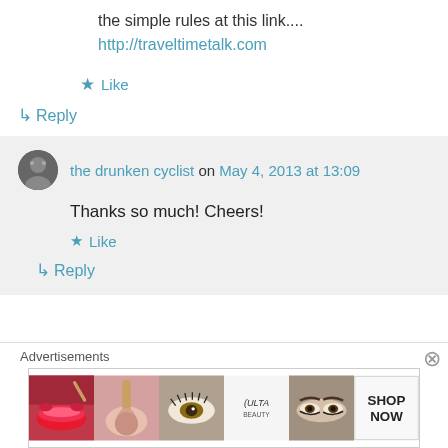the simple rules at this link....
http://traveltimetalk.com
★ Like
↳ Reply
the drunken cyclist on May 4, 2013 at 13:09
Thanks so much! Cheers!
★ Like
↳ Reply
Advertisements
[Figure (photo): Ulta beauty advertisement banner with makeup imagery and SHOP NOW text]